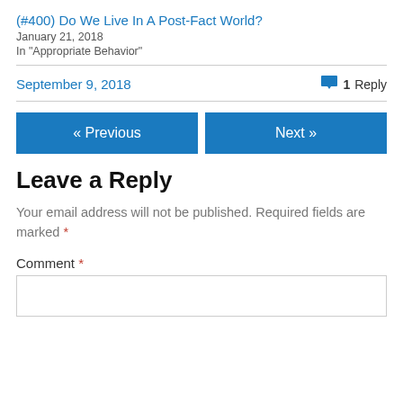(#400) Do We Live In A Post-Fact World?
January 21, 2018
In "Appropriate Behavior"
September 9, 2018
1 Reply
« Previous
Next »
Leave a Reply
Your email address will not be published. Required fields are marked *
Comment *